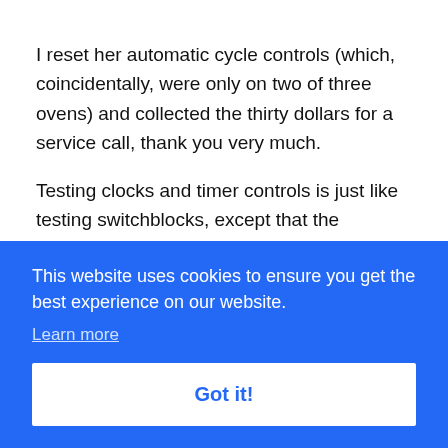I reset her automatic cycle controls (which, coincidentally, were only on two of three ovens) and collected the thirty dollars for a service call, thank you very much.
Testing clocks and timer controls is just like testing switchblocks, except that the switches are opened [r.] [ich] [y.] [e] [ne] doesn't run or the switches don't open and close as
This website uses cookies to ensure you get the best experience on our website.
Learn more
Got it!